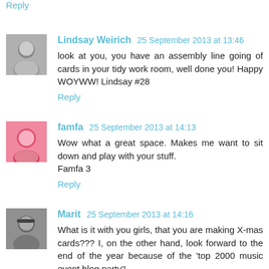Reply
Lindsay Weirich 25 September 2013 at 13:46
look at you, you have an assembly line going of cards in your tidy work room, well done you! Happy WOYWW! Lindsay #28
Reply
famfa 25 September 2013 at 14:13
Wow what a great space. Makes me want to sit down and play with your stuff.
Famfa 3
Reply
Marit 25 September 2013 at 14:16
What is it with you girls, that you are making X-mas cards??? I, on the other hand, look forward to the end of the year because of the 'top 2000 music event blog party'!